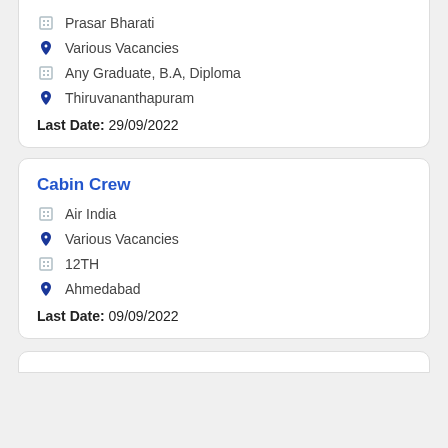Prasar Bharati
Various Vacancies
Any Graduate, B.A, Diploma
Thiruvananthapuram
Last Date: 29/09/2022
Cabin Crew
Air India
Various Vacancies
12TH
Ahmedabad
Last Date: 09/09/2022